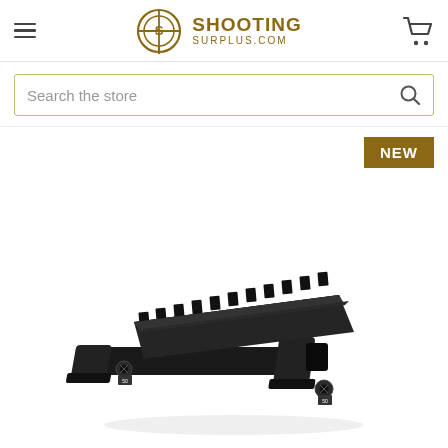Shooting Surplus .COM
Search the store
NEW
[Figure (photo): Black picatinny rail riser mount for firearms, angled perspective view showing serrated top rail and two mounting screws with hex bolts, matte black finish, photographed on white background]